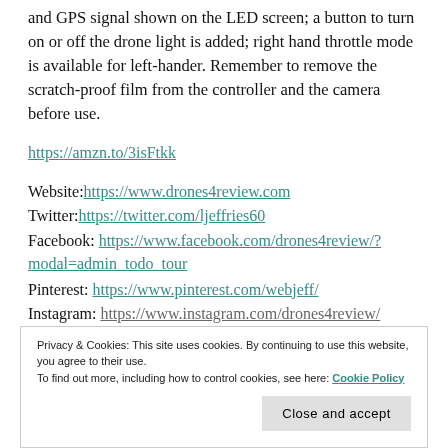and GPS signal shown on the LED screen; a button to turn on or off the drone light is added; right hand throttle mode is available for left-hander. Remember to remove the scratch-proof film from the controller and the camera before use.
https://amzn.to/3isFtkk
Website: https://www.drones4review.com
Twitter: https://twitter.com/ljeffries60
Facebook: https://www.facebook.com/drones4review/?modal=admin_todo_tour
Pinterest: https://www.pinterest.com/webjeff/
Instagram: https://www.instagram.com/drones4review/
Privacy & Cookies: This site uses cookies. By continuing to use this website, you agree to their use. To find out more, including how to control cookies, see here: Cookie Policy